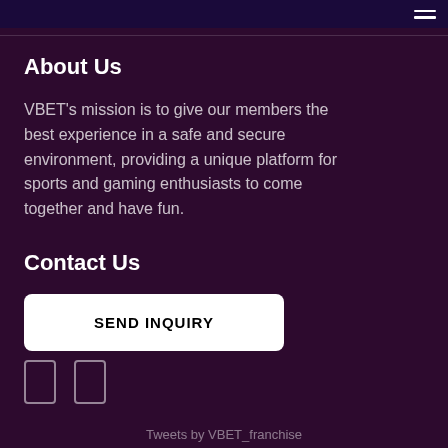VBET navigation bar with hamburger menu
About Us
VBET's mission is to give our members the best experience in a safe and secure environment, providing a unique platform for sports and gaming enthusiasts to come together and have fun.
Contact Us
SEND INQUIRY
[Figure (other): Two social media icon placeholders (rectangular outline boxes)]
Tweets by VBET_franchise